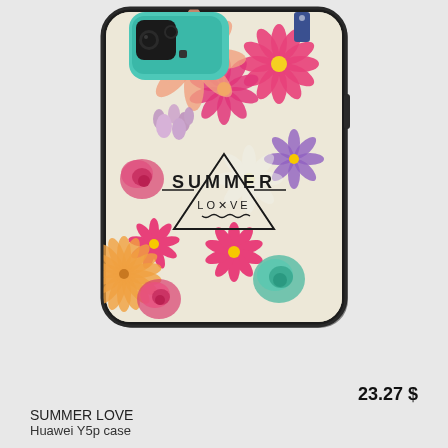[Figure (photo): A Huawei Y5p phone case with a floral design featuring pink, purple, orange, and teal flowers on a cream background, with a triangle graphic and the text SUMMER LOVE in the center. The phone case has a teal camera cutout area at the top.]
23.27 $
SUMMER LOVE
Huawei Y5p case